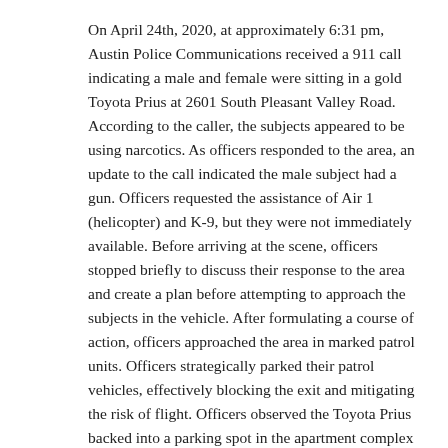On April 24th, 2020, at approximately 6:31 pm, Austin Police Communications received a 911 call indicating a male and female were sitting in a gold Toyota Prius at 2601 South Pleasant Valley Road. According to the caller, the subjects appeared to be using narcotics. As officers responded to the area, an update to the call indicated the male subject had a gun. Officers requested the assistance of Air 1 (helicopter) and K-9, but they were not immediately available. Before arriving at the scene, officers stopped briefly to discuss their response to the area and create a plan before attempting to approach the subjects in the vehicle. After formulating a course of action, officers approached the area in marked patrol units. Officers strategically parked their patrol vehicles, effectively blocking the exit and mitigating the risk of flight. Officers observed the Toyota Prius backed into a parking spot in the apartment complex parking lot near the one-way entrance/exit. Officers